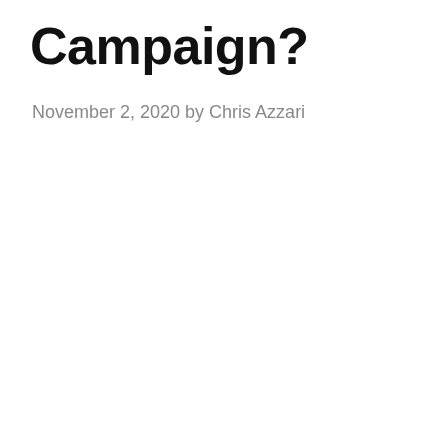Campaign?
November 2, 2020 by Chris Azzari